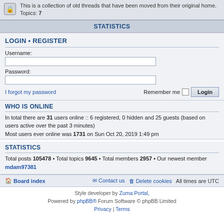This is a collection of old threads that have been moved from their original home.
Topics: 7
STATISTICS
LOGIN • REGISTER
Username:
Password:
I forgot my password    Remember me  Login
WHO IS ONLINE
In total there are 31 users online :: 6 registered, 0 hidden and 25 guests (based on users active over the past 3 minutes)
Most users ever online was 1731 on Sun Oct 20, 2019 1:49 pm
STATISTICS
Total posts 105478 • Total topics 9645 • Total members 2957 • Our newest member mdam97381
Board index   Contact us   Delete cookies   All times are UTC
Style developer by Zuma Portal,
Powered by phpBB® Forum Software © phpBB Limited
Privacy | Terms